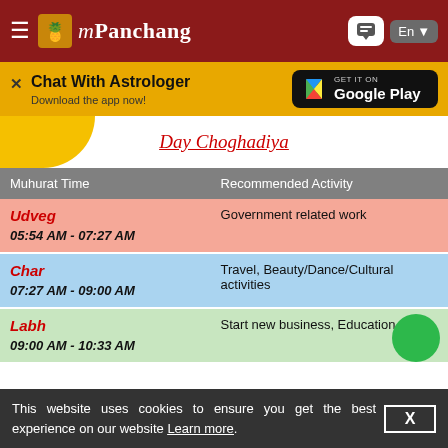mPanchang
Chat With Astrologer
Download the app now!
Day Choghadiya
| Muhurat Time | Recommended Activity |
| --- | --- |
| Udveg
05:54 AM - 07:27 AM | Government related work |
| Char
07:27 AM - 09:00 AM | Travel, Beauty/Dance/Cultural activities |
| Labh
09:00 AM - 10:33 AM | Start new business, Education |
This website uses cookies to ensure you get the best experience on our website Learn more.